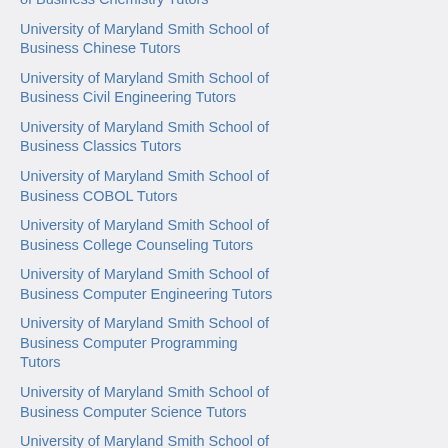University of Maryland Smith School of Business Chemistry Tutors
University of Maryland Smith School of Business Chinese Tutors
University of Maryland Smith School of Business Civil Engineering Tutors
University of Maryland Smith School of Business Classics Tutors
University of Maryland Smith School of Business COBOL Tutors
University of Maryland Smith School of Business College Counseling Tutors
University of Maryland Smith School of Business Computer Engineering Tutors
University of Maryland Smith School of Business Computer Programming Tutors
University of Maryland Smith School of Business Computer Science Tutors
University of Maryland Smith School of Business COOP/HSPT Tutors
University of Maryland Smith School of Business Cosmetology Tutors
University of Maryland Smith School of Business Criminal Justice Tutors